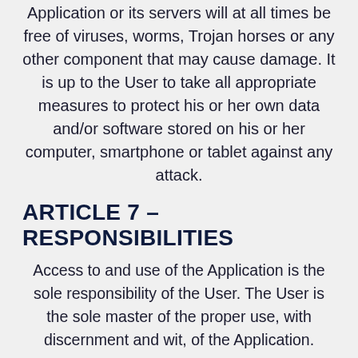Application or its servers will at all times be free of viruses, worms, Trojan horses or any other component that may cause damage. It is up to the User to take all appropriate measures to protect his or her own data and/or software stored on his or her computer, smartphone or tablet against any attack.
ARTICLE 7 – RESPONSIBILITIES
Access to and use of the Application is the sole responsibility of the User. The User is the sole master of the proper use, with discernment and wit, of the Application.
No claim from the application against...